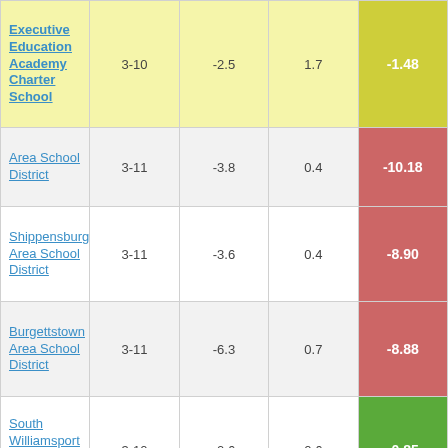| School/District | Grades |  |  | Score |
| --- | --- | --- | --- | --- |
| Executive Education Academy Charter School | 3-10 | -2.5 | 1.7 | -1.48 |
| Area School District | 3-11 | -3.8 | 0.4 | -10.18 |
| Shippensburg Area School District | 3-11 | -3.6 | 0.4 | -8.90 |
| Burgettstown Area School District | 3-11 | -6.3 | 0.7 | -8.88 |
| South Williamsport Area School District | 3-10 | -0.6 | 0.6 | -0.85 |
| Moniteau School District | 3-11 | -2.7 | 0.7 | -3.99 |
| Valley View | 3-11 | -2.3 | 0.8 | -3.04 |